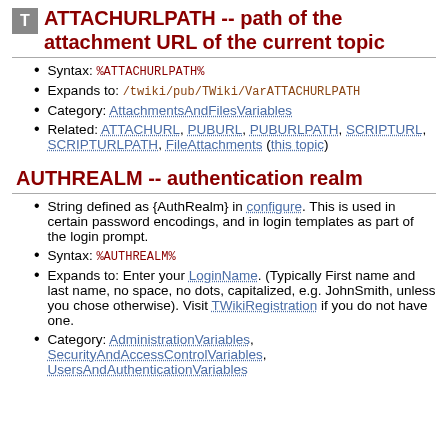ATTACHURLPATH -- path of the attachment URL of the current topic
Syntax: %ATTACHURLPATH%
Expands to: /twiki/pub/TWiki/VarATTACHURLPATH
Category: AttachmentsAndFilesVariables
Related: ATTACHURL, PUBURL, PUBURLPATH, SCRIPTURL, SCRIPTURLPATH, FileAttachments (this topic)
AUTHREALM -- authentication realm
String defined as {AuthRealm} in configure. This is used in certain password encodings, and in login templates as part of the login prompt.
Syntax: %AUTHREALM%
Expands to: Enter your LoginName. (Typically First name and last name, no space, no dots, capitalized, e.g. JohnSmith, unless you chose otherwise). Visit TWikiRegistration if you do not have one.
Category: AdministrationVariables, SecurityAndAccessControlVariables, UsersAndAuthenticationVariables